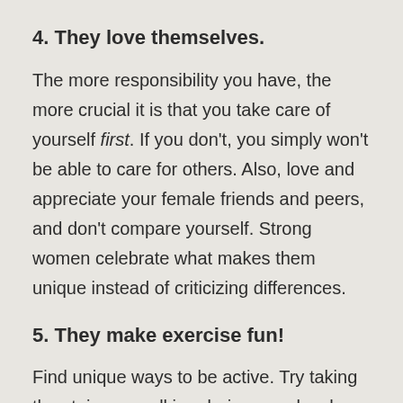4. They love themselves.
The more responsibility you have, the more crucial it is that you take care of yourself first. If you don't, you simply won't be able to care for others. Also, love and appreciate your female friends and peers, and don't compare yourself. Strong women celebrate what makes them unique instead of criticizing differences.
5. They make exercise fun!
Find unique ways to be active. Try taking the stairs, or walking during your lunch